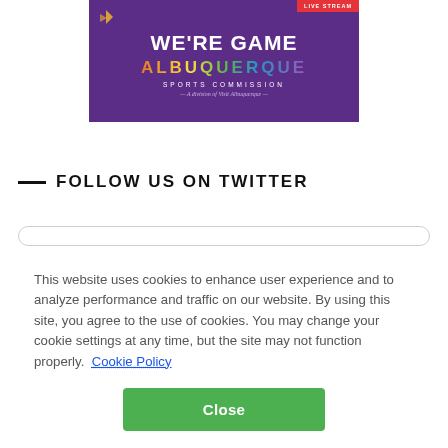[Figure (logo): Albuquerque Sports Commission banner on purple background with 'WE'RE GAME' text, colorful 'ALBUQUERQUE' lettering, 'SPORTS COMMISSION' subtitle, and 'A division of Visit Albuquerque' tagline]
FOLLOW US ON TWITTER
This website uses cookies to enhance user experience and to analyze performance and traffic on our website. By using this site, you agree to the use of cookies. You may change your cookie settings at any time, but the site may not function properly. Cookie Policy